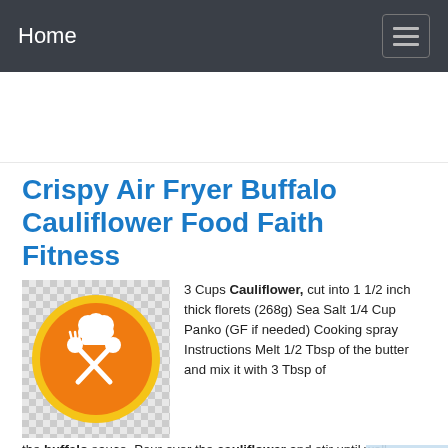Home
Crispy Air Fryer Buffalo Cauliflower Food Faith Fitness
[Figure (logo): Orange circular logo with white chef hat, spoon, and fork crossed, on a checkered background]
3 Cups Cauliflower, cut into 1 1/2 inch thick florets (268g) Sea Salt 1/4 Cup Panko (GF if needed) Cooking spray Instructions Melt 1/2 Tbsp of the butter and mix it with 3 Tbsp of the buffalo sauce. Pour over the cauliflower and stir until well covered (I use my hands as it's easier.) Cover and refrigerate for at least 1 hour, up to overnight.